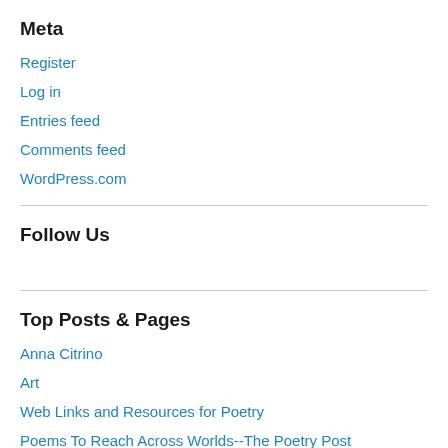Meta
Register
Log in
Entries feed
Comments feed
WordPress.com
Follow Us
Top Posts & Pages
Anna Citrino
Art
Web Links and Resources for Poetry
Poems To Reach Across Worlds--The Poetry Post
On Blindness and Learning to See